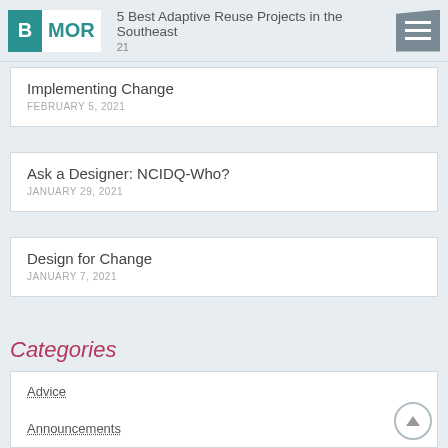5 Best Adaptive Reuse Projects in the Southeast · 2021
Implementing Change · FEBRUARY 5, 2021
Ask a Designer: NCIDQ-Who? · JANUARY 29, 2021
Design for Change · JANUARY 7, 2021
Categories
Advice
Announcements